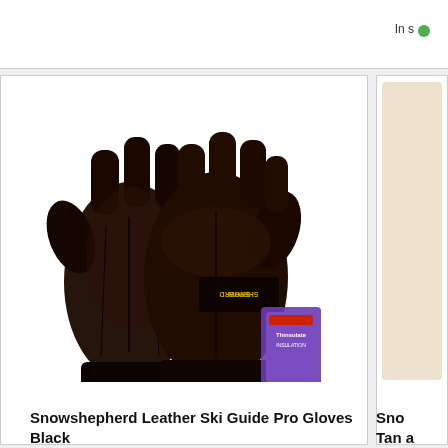[Figure (photo): Dark brown/black leather ski gloves (Snow Shepherd brand) displayed on white background with Thinsulate insulation hang tag visible]
Snowshepherd Leather Ski Guide Pro Gloves Black
Snow Tan a